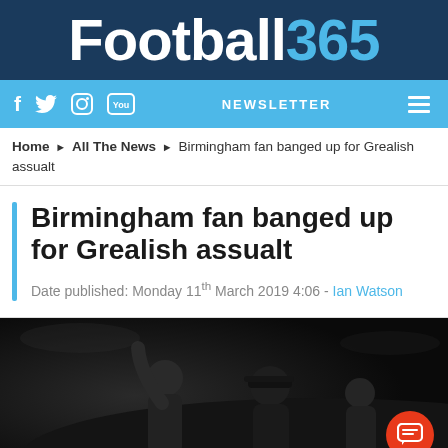Football365
f  Twitter  Instagram  YouTube  NEWSLETTER  ≡
Home ▶ All The News ▶ Birmingham fan banged up for Grealish assualt
Birmingham fan banged up for Grealish assualt
Date published: Monday 11th March 2019 4:06 - Ian Watson
[Figure (photo): Dark photograph showing football fan figures, one with arm raised, another wearing a cap, in a stadium setting]